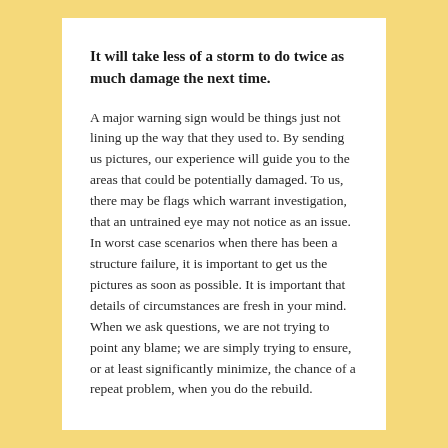It will take less of a storm to do twice as much damage the next time.
A major warning sign would be things just not lining up the way that they used to. By sending us pictures, our experience will guide you to the areas that could be potentially damaged. To us, there may be flags which warrant investigation, that an untrained eye may not notice as an issue.
In worst case scenarios when there has been a structure failure, it is important to get us the pictures as soon as possible. It is important that details of circumstances are fresh in your mind.
When we ask questions, we are not trying to point any blame; we are simply trying to ensure, or at least significantly minimize, the chance of a repeat problem, when you do the rebuild.